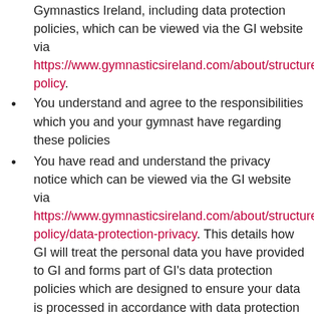Gymnastics Ireland, including data protection policies, which can be viewed via the GI website via https://www.gymnasticsireland.com/about/structure-policy.
You understand and agree to the responsibilities which you and your gymnast have regarding these policies
You have read and understand the privacy notice which can be viewed via the GI website via https://www.gymnasticsireland.com/about/structure-policy/data-protection-privacy. This details how GI will treat the personal data you have provided to GI and forms part of GI's data protection policies which are designed to ensure your data is processed in accordance with data protection legislation
You confirm that your are not involved with the management or operation of any non-registered/connected gymnastics club(s) or programme(s) outside of the GI club network
You agree to abide by Gymnastics Ireland's...